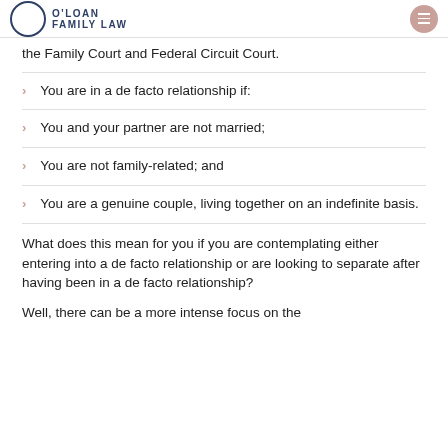O'LOAN FAMILY LAW
the Family Court and Federal Circuit Court.
You are in a de facto relationship if:
You and your partner are not married;
You are not family-related; and
You are a genuine couple, living together on an indefinite basis.
What does this mean for you if you are contemplating either entering into a de facto relationship or are looking to separate after having been in a de facto relationship?
Well, there can be a more intense focus on the